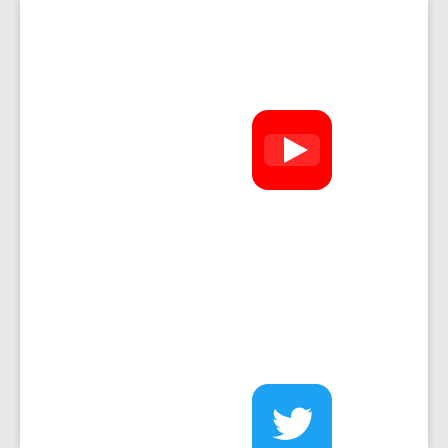[Figure (logo): YouTube logo icon — red rounded square with white play button triangle]
[Figure (logo): Twitter logo icon — blue rounded square with white bird]
[Figure (map): Google Maps embed showing location 'Bitcoin ATM Daven...' with Allpoint pin marker, Ashley Loop road, IDX.Mar label, Jolly Hill Rd label, and a 'View larger map' link]